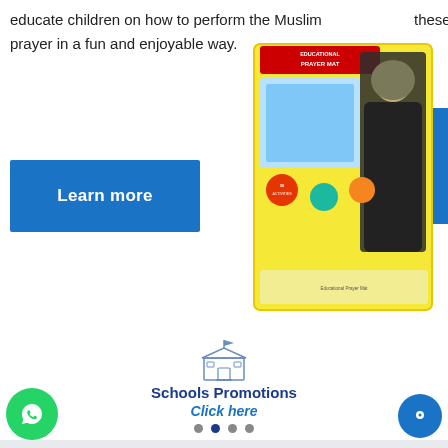educate children on how to perform the Muslim prayer in a fun and enjoyable way.
[Figure (photo): Product box of Educational Prayer Mat for children, showing colorful packaging with a woman in hijab and prayer mat contents.]
Learn more
[Figure (illustration): School building icon in blue outline style with flag on top.]
Schools Promotions
Click here
UT THE COMPANY
CUSTOMER SERVICES